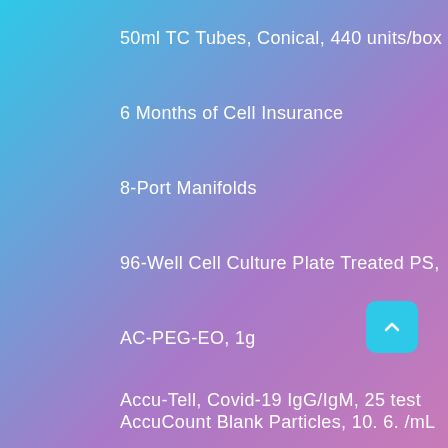50ml TC Tubes, Conical, 440 units/box
6 Months of Cell Insurance
8-Port Manifolds
96-Well Cell Culture Plate Treated PS,
AC-PEG-EO, 1g
Accu-Tell, Covid-19 IgG/IgM, 25 test
AccuCount Blank Particles, 10. 6. /mL